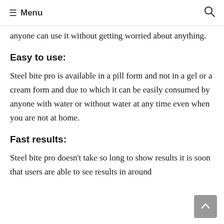≡ Menu
anyone can use it without getting worried about anything.
Easy to use:
Steel bite pro is available in a pill form and not in a gel or a cream form and due to which it can be easily consumed by anyone with water or without water at any time even when you are not at home.
Fast results:
Steel bite pro doesn't take so long to show results it is soon that users are able to see results in around